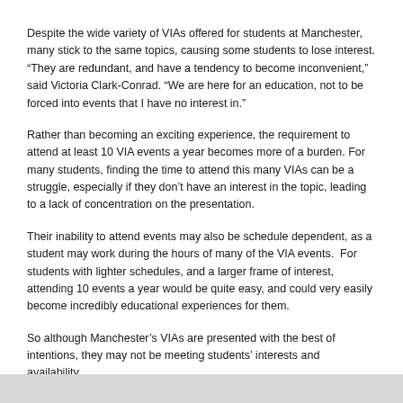Despite the wide variety of VIAs offered for students at Manchester, many stick to the same topics, causing some students to lose interest. “They are redundant, and have a tendency to become inconvenient,” said Victoria Clark-Conrad. “We are here for an education, not to be forced into events that I have no interest in.”
Rather than becoming an exciting experience, the requirement to attend at least 10 VIA events a year becomes more of a burden. For many students, finding the time to attend this many VIAs can be a struggle, especially if they don’t have an interest in the topic, leading to a lack of concentration on the presentation.
Their inability to attend events may also be schedule dependent, as a student may work during the hours of many of the VIA events.  For students with lighter schedules, and a larger frame of interest, attending 10 events a year would be quite easy, and could very easily become incredibly educational experiences for them.
So although Manchester’s VIAs are presented with the best of intentions, they may not be meeting students’ interests and availability.